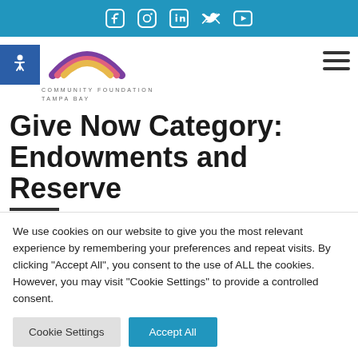Social media icons: Facebook, Instagram, LinkedIn, Twitter, YouTube
[Figure (logo): Community Foundation Tampa Bay logo with rainbow arc and accessibility icon]
Give Now Category: Endowments and Reserve
We use cookies on our website to give you the most relevant experience by remembering your preferences and repeat visits. By clicking "Accept All", you consent to the use of ALL the cookies. However, you may visit "Cookie Settings" to provide a controlled consent.